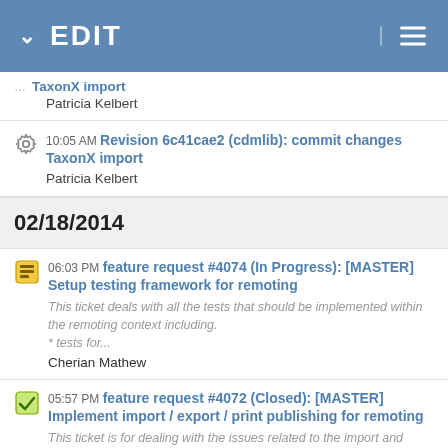EDIT
TaxonX import
Patricia Kelbert
10:05 AM Revision 6c41cae2 (cdmlib): commit changes TaxonX import
Patricia Kelbert
02/18/2014
06:03 PM feature request #4074 (In Progress): [MASTER] Setup testing framework for remoting
This ticket deals with all the tests that should be implemented within the remoting context including.
* tests for...
Cherian Mathew
05:57 PM feature request #4072 (Closed): [MASTER] Implement import / export / print publishing for remoting
This ticket is for dealing with the issues related to the import and export of data into the CDM datasource as well a...
Cherian Mathew
04:00 PM Revision 2b3380bd (taxeditor): - BioCase querying as...